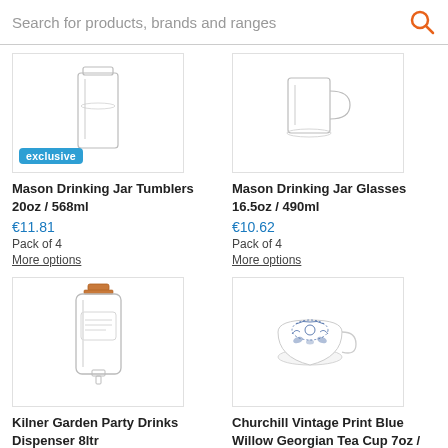Search for products, brands and ranges
[Figure (photo): Mason Drinking Jar Tumblers 20oz / 568ml glass product image with 'exclusive' badge]
Mason Drinking Jar Tumblers 20oz / 568ml
€11.81
Pack of 4
More options
[Figure (photo): Mason Drinking Jar Glasses 16.5oz / 490ml glass product image]
Mason Drinking Jar Glasses 16.5oz / 490ml
€10.62
Pack of 4
More options
[Figure (photo): Kilner Garden Party Drinks Dispenser 8ltr product image]
Kilner Garden Party Drinks Dispenser 8ltr
€42.32
[Figure (photo): Churchill Vintage Print Blue Willow Georgian Tea Cup 7oz / 200ml product image]
Churchill Vintage Print Blue Willow Georgian Tea Cup 7oz / 200ml
€82.86